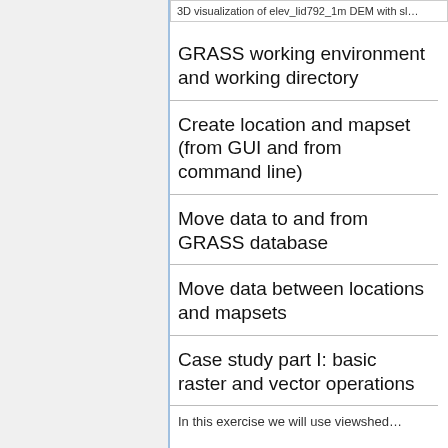3D visualization of elev_lid792_1m DEM with sl…
GRASS working environment and working directory
Create location and mapset (from GUI and from command line)
Move data to and from GRASS database
Move data between locations and mapsets
Case study part I: basic raster and vector operations
In this exercise we will use viewshed…